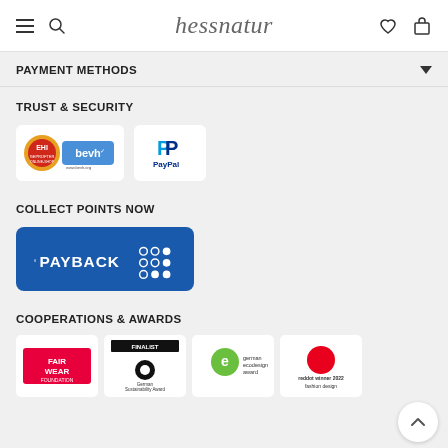hessnatur
PAYMENT METHODS
TRUST & SECURITY
[Figure (logo): EHI bevh trust seal logo]
[Figure (logo): PayPal logo]
COLLECT POINTS NOW
[Figure (logo): PAYBACK logo on blue background]
COOPERATIONS & AWARDS
[Figure (logo): Fair Wear Foundation logo]
[Figure (logo): German Sustainability Award 2022 Finalist logo]
[Figure (logo): German Ecodesign Award logo]
[Figure (logo): Red Dot Winner 2022 Fashion Design logo]